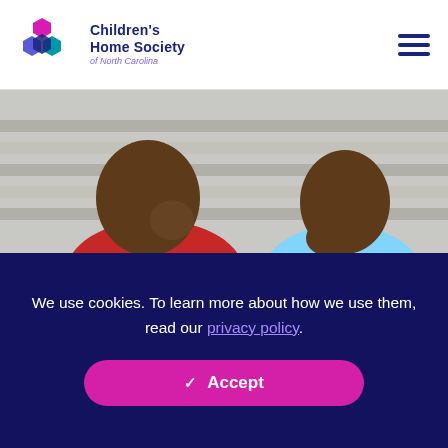Children's Home Society of North Carolina
[Figure (photo): Two men laughing together outdoors in front of bleachers, one wearing a red jacket and one wearing a light blue shirt]
We use cookies. To learn more about how we use them, read our privacy policy.
Accept